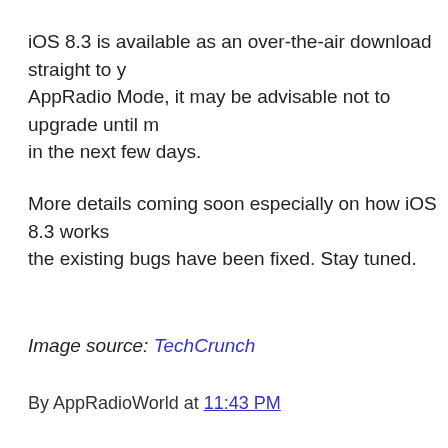iOS 8.3 is available as an over-the-air download straight to y... AppRadio Mode, it may be advisable not to upgrade until m... in the next few days.
More details coming soon especially on how iOS 8.3 works... the existing bugs have been fixed. Stay tuned.
Image source: TechCrunch
By AppRadioWorld at 11:43 PM